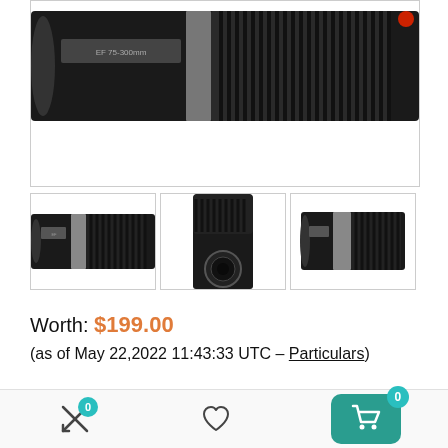[Figure (photo): Camera telephoto zoom lens photographed from side angle, black lens body with ribbed grip texture and red accent ring, partial crop showing top portion]
[Figure (photo): Three thumbnail images of the same black camera telephoto zoom lens from different angles: side horizontal view, front vertical view, and three-quarter view]
Worth: $199.00
(as of May 22,2022 11:43:33 UTC – Particulars)
[Figure (screenshot): Bottom navigation bar with compare icon (badge 0), wishlist heart icon, and shopping cart button (badge 0) on teal background]